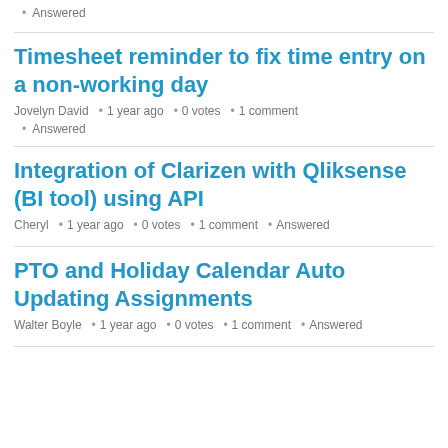Answered
Timesheet reminder to fix time entry on a non-working day
Jovelyn David • 1 year ago • 0 votes • 1 comment
Answered
Integration of Clarizen with Qliksense (BI tool) using API
Cheryl • 1 year ago • 0 votes • 1 comment • Answered
PTO and Holiday Calendar Auto Updating Assignments
Walter Boyle • 1 year ago • 0 votes • 1 comment • Answered